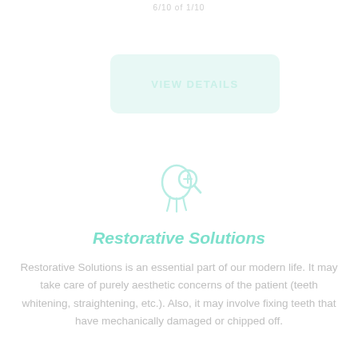6/10 of 1/10
[Figure (illustration): A rounded rectangle button with light teal/mint background and the text VIEW DETAILS in bold uppercase letters]
[Figure (illustration): A dental/medical icon showing a tooth with a magnifying glass symbol, rendered in light teal color]
Restorative Solutions
Restorative Solutions is an essential part of our modern life. It may take care of purely aesthetic concerns of the patient (teeth whitening, straightening, etc.). Also, it may involve fixing teeth that have mechanically damaged or chipped off.